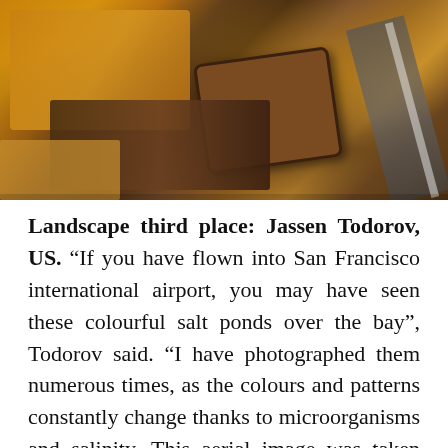[Figure (photo): Aerial photograph of colourful salt ponds near San Francisco Bay, showing orange, amber, and brown hues with geometric shapes and a road visible in the upper right corner.]
Landscape third place: Jassen Todorov, US. “If you have flown into San Francisco international airport, you may have seen these colourful salt ponds over the bay”, Todorov said. “I have photographed them numerous times, as the colours and patterns constantly change thanks to microorganisms and salinity. This aerial image was taken while flying my plane”. (Photo by Jassen Todorov/TNC Photo Contest 2021)